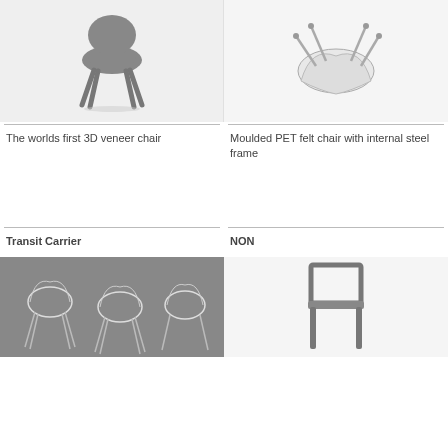[Figure (photo): A dark grey modern dining chair with curved back and four legs, 3D render on white background]
[Figure (photo): A white moulded PET felt chair with internal steel frame legs, 3D render on white background]
The worlds first 3D veneer chair
Moulded PET felt chair with internal steel frame
Transit Carrier
NON
[Figure (photo): Multiple wire-frame transit carrier chairs rendered on dark grey background]
[Figure (photo): A minimalist chair with rectangular frame in dark grey, partial view]